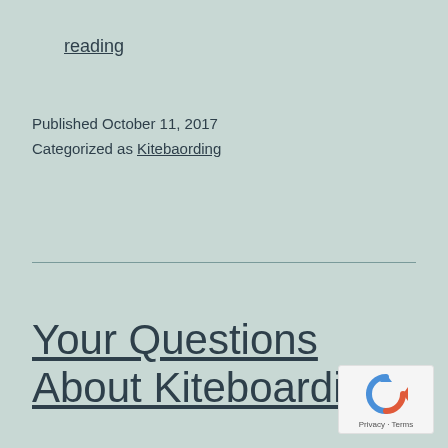reading
Published October 11, 2017
Categorized as Kitebaording
Your Questions About Kiteboarding
[Figure (logo): reCAPTCHA badge with circular arrow icon and Privacy - Terms text]